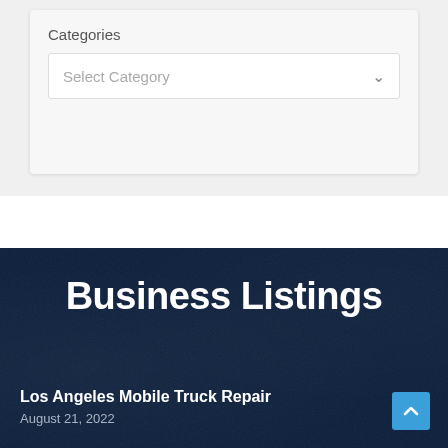Categories
Select Category
Business Listings
Los Angeles Mobile Truck Repair
August 21, 2022